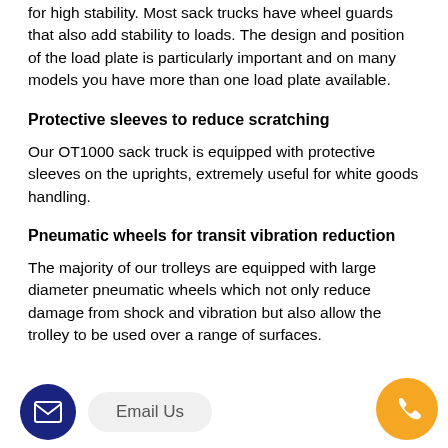for high stability. Most sack trucks have wheel guards that also add stability to loads. The design and position of the load plate is particularly important and on many models you have more than one load plate available.
Protective sleeves to reduce scratching
Our OT1000 sack truck is equipped with protective sleeves on the uprights, extremely useful for white goods handling.
Pneumatic wheels for transit vibration reduction
The majority of our trolleys are equipped with large diameter pneumatic wheels which not only reduce damage from shock and vibration but also allow the trolley to be used over a range of surfaces.